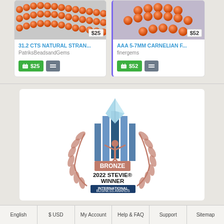[Figure (photo): Product card: orange carnelian bead strand. Price badge $25. Title: 31.2 CTS NATURAL STRAN... Seller: PatriksBeadsandGems. Add to cart button $25, compare button.]
[Figure (photo): Product card: orange carnelian bead strand AAA 5-7MM. Price badge $52. Title: AAA 5-7MM CARNELIAN F... Seller: finergems. Add to cart button $52, compare button.]
[Figure (logo): Bronze 2022 Stevie Winner International Business Awards logo with laurel wreath and figure holding trophy.]
English   $ USD   My Account   Help & FAQ   Support   Sitemap